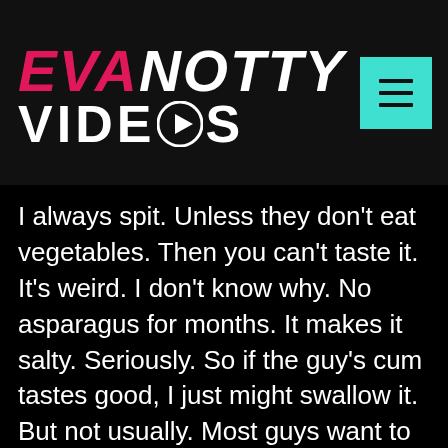EVA NOTTY VIDEOS
I always spit. Unless they don't eat vegetables. Then you can't taste it. It's weird. I don't know why. No asparagus for months. It makes it salty. Seriously. So if the guy's cum tastes good, I just might swallow it. But not usually. Most guys want to come on my tits, anyway, and I'm happy to let them. Of course, my…